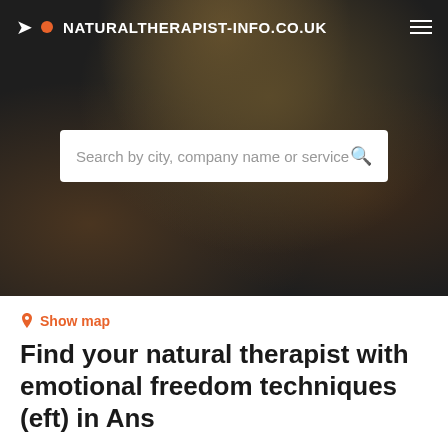NATURALTHERAPIST-INFO.CO.UK
Search by city, company name or service
Show map
Find your natural therapist with emotional freedom techniques (eft) in Ans
Find the best natural therapist with emotional freedom techniques (eft) in Ans based on your criteria.
Filters